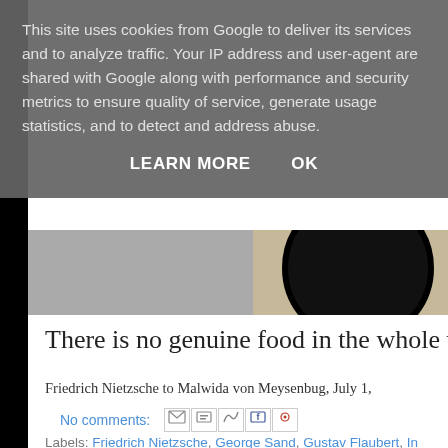This site uses cookies from Google to deliver its services and to analyze traffic. Your IP address and user-agent are shared with Google along with performance and security metrics to ensure quality of service, generate usage statistics, and to detect and address abuse.
LEARN MORE    OK
[Figure (photo): Partial photo showing a dark circular object (likely a camera lens or pot) against a light background, cropped at the top of the blog content area.]
There is no genuine food in the whole wor
Friedrich Nietzsche to Malwida von Meysenbug, July 1,
No comments:
Labels: Friedrich Nietzsche, George Sand, Gustav Flaubert, In